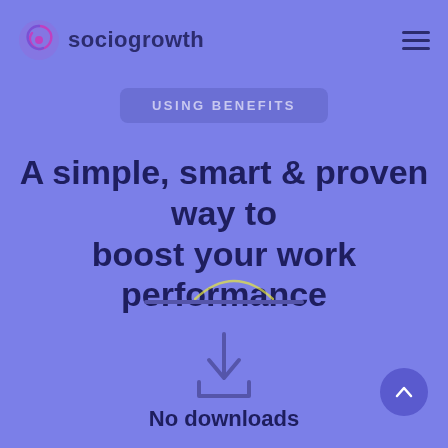sociogrowth
USING BENEFITS
A simple, smart & proven way to boost your work performance
[Figure (illustration): Download icon (arrow pointing down into a tray) representing no downloads needed]
No downloads